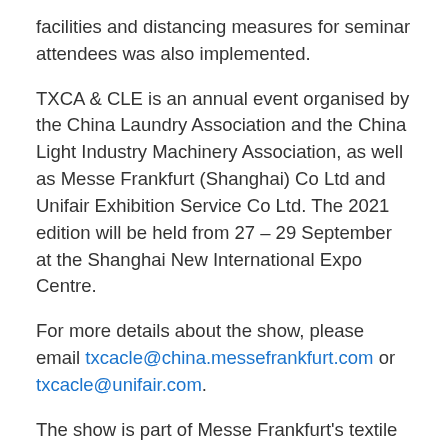facilities and distancing measures for seminar attendees was also implemented.
TXCA & CLE is an annual event organised by the China Laundry Association and the China Light Industry Machinery Association, as well as Messe Frankfurt (Shanghai) Co Ltd and Unifair Exhibition Service Co Ltd. The 2021 edition will be held from 27 – 29 September at the Shanghai New International Expo Centre.
For more details about the show, please email txcacle@china.messefrankfurt.com or txcacle@unifair.com.
The show is part of Messe Frankfurt's textile care events. Texcare International is the international flagship fair of this brand, and is held every four